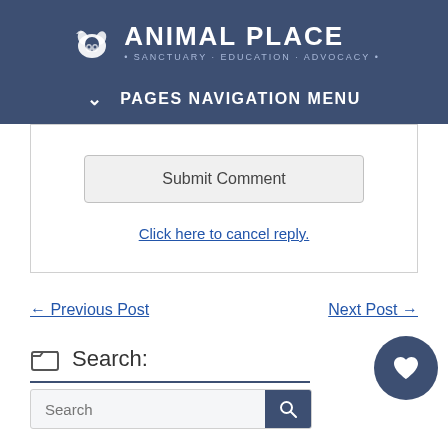[Figure (logo): Animal Place logo with animal silhouette icon and text 'ANIMAL PLACE • SANCTUARY · EDUCATION · ADVOCACY •' on dark blue background]
PAGES NAVIGATION MENU
Submit Comment
Click here to cancel reply.
← Previous Post
Next Post →
Search:
Search